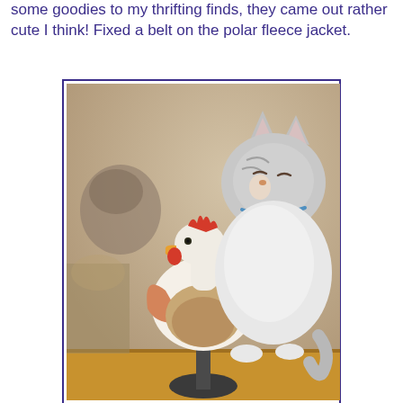some goodies to my thrifting finds, they came out rather cute I think! Fixed a belt on the polar fleece jacket.
[Figure (photo): A grey and white cat sitting behind a decorative ceramic rooster figurine on a stand. The cat appears to be hugging or peeking around the rooster decoration. The scene is on a wooden table with a warm beige background.]